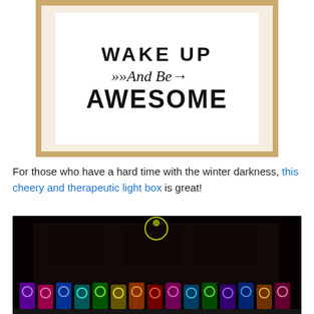[Figure (photo): A framed wooden sign on a white background reading 'WAKE UP → And Be → AWESOME' in decorative typography]
For those who have a hard time with the winter darkness, this cheery and therapeutic light box is great!
[Figure (photo): A dark nighttime scene of a building facade with colorful neon light boxes/panels arranged along the bottom, featuring glowing bulb icons in various colors including green, pink, purple, blue, orange]